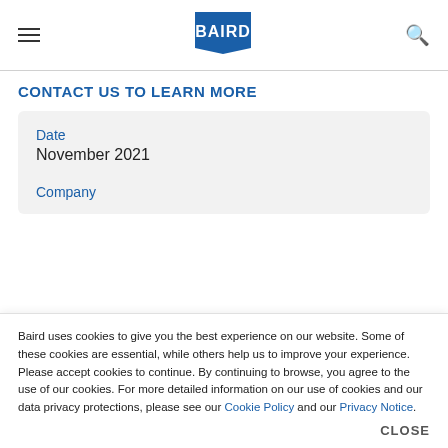BAIRD
CONTACT US TO LEARN MORE
| Date | Company |
| --- | --- |
| November 2021 |  |
Baird uses cookies to give you the best experience on our website. Some of these cookies are essential, while others help us to improve your experience. Please accept cookies to continue. By continuing to browse, you agree to the use of our cookies. For more detailed information on our use of cookies and our data privacy protections, please see our Cookie Policy and our Privacy Notice.
CLOSE